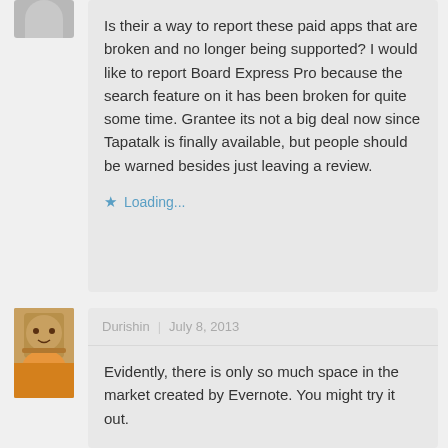Is their a way to report these paid apps that are broken and no longer being supported? I would like to report Board Express Pro because the search feature on it has been broken for quite some time. Grantee its not a big deal now since Tapatalk is finally available, but people should be warned besides just leaving a review.
Loading...
Durishin | July 8, 2013
Evidently, there is only so much space in the market created by Evernote. You might try it out.
Loading...